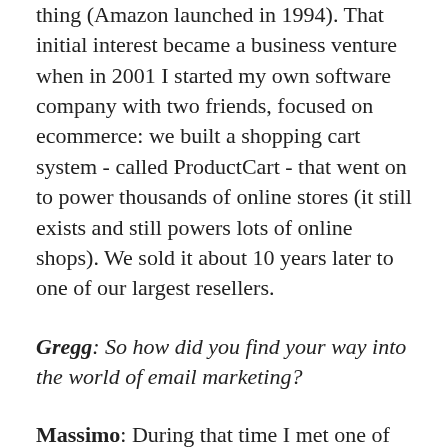thing (Amazon launched in 1994). That initial interest became a business venture when in 2001 I started my own software company with two friends, focused on ecommerce: we built a shopping cart system - called ProductCart - that went on to power thousands of online stores (it still exists and still powers lots of online shops). We sold it about 10 years later to one of our largest resellers.
Gregg: So how did you find your way into the world of email marketing?
Massimo: During that time I met one of